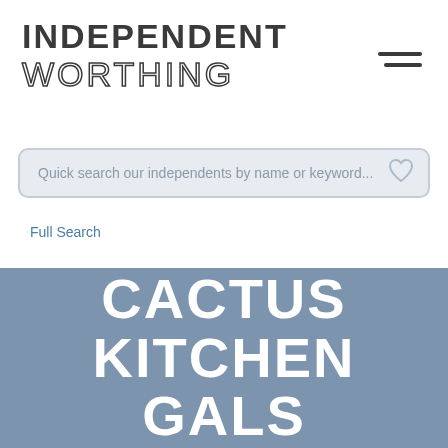INDEPENDENT WORTHING
[Figure (infographic): Hamburger menu icon with two horizontal lines]
Quick search our independents by name or keyword...
Full Search
CACTUS KITCHEN GALS